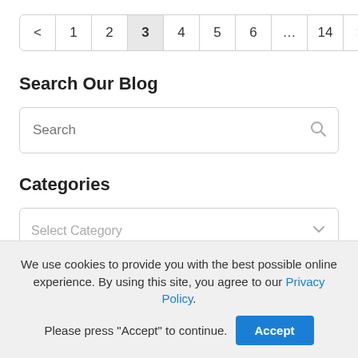[Figure (other): Pagination control showing pages: < 1 2 3 4 5 6 ... 14 >, with page 3 highlighted]
Search Our Blog
[Figure (other): Search input box with placeholder text 'Search' and a search icon on the right]
Categories
[Figure (other): Dropdown select box with placeholder 'Select Category' and a chevron icon on the right]
We use cookies to provide you with the best possible online experience. By using this site, you agree to our Privacy Policy. Please press "Accept" to continue.